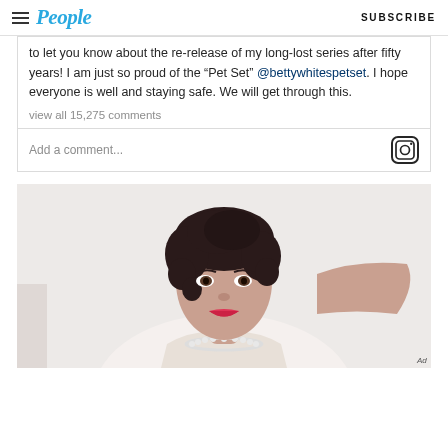People  SUBSCRIBE
to let you know about the re-release of my long-lost series after fifty years! I am just so proud of the “Pet Set” @bettywhitespetset. I hope everyone is well and staying safe. We will get through this.
view all 15,275 comments
Add a comment...
[Figure (photo): Black and white / lightly colorized vintage portrait photograph of a smiling young woman with dark curly hair, red lips, wearing a pearl necklace, posed with her hand raised near her shoulder. Ad label visible in bottom right.]